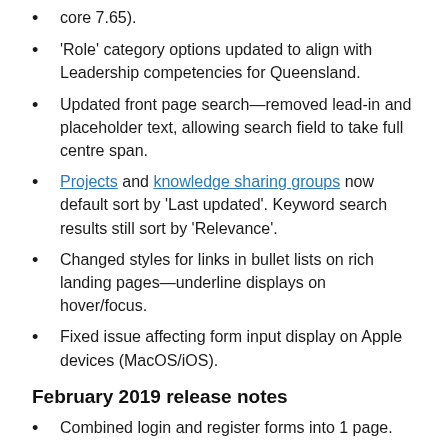core 7.65).
'Role' category options updated to align with Leadership competencies for Queensland.
Updated front page search—removed lead-in and placeholder text, allowing search field to take full centre span.
Projects and knowledge sharing groups now default sort by 'Last updated'. Keyword search results still sort by 'Relevance'.
Changed styles for links in bullet lists on rich landing pages—underline displays on hover/focus.
Fixed issue affecting form input display on Apple devices (MacOS/iOS).
February 2019 release notes
Combined login and register forms into 1 page.
All PDFs download to device instead of opening in browser.
govCMS update—version 7.x-2.25.
Case study metadata—no longer need to duplicate